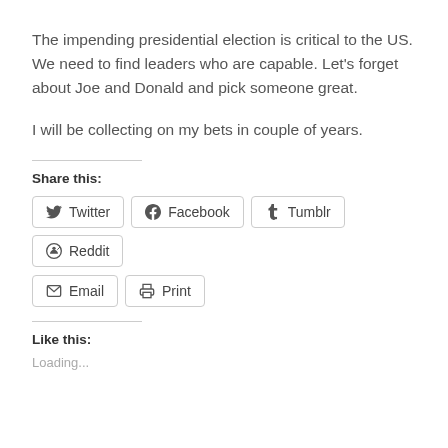The impending presidential election is critical to the US. We need to find leaders who are capable. Let’s forget about Joe and Donald and pick someone great.
I will be collecting on my bets in couple of years.
Share this:
[Figure (infographic): Social sharing buttons: Twitter, Facebook, Tumblr, Reddit, Email, Print]
Like this:
Loading...